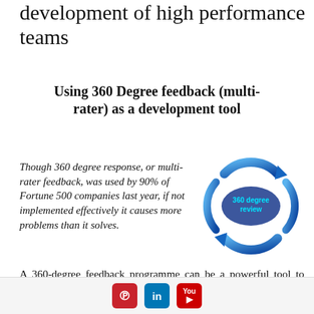development of high performance teams
Using 360 Degree feedback (multi-rater) as a development tool
Though 360 degree response, or multi-rater feedback, was used by 90% of Fortune 500 companies last year, if not implemented effectively it causes more problems than it solves.
[Figure (illustration): Circular arrows forming a cycle with text '360 degree review' in the center, rendered in blue 3D style]
A 360-degree feedback programme can be a powerful tool to help develop your people, or it can
Pinterest | LinkedIn | YouTube social media icons